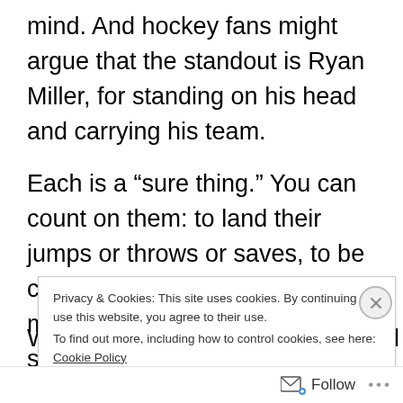mind. And hockey fans might argue that the standout is Ryan Miller, for standing on his head and carrying his team.
Each is a “sure thing.” You can count on them: to land their jumps or throws or saves, to be confident and controlled. Their movements appear light and smooth, effortless and fun. They are in their element.
W... (partially obscured) c... (partially obscured)
Privacy & Cookies: This site uses cookies. By continuing to use this website, you agree to their use. To find out more, including how to control cookies, see here: Cookie Policy
Close and accept
Follow ...